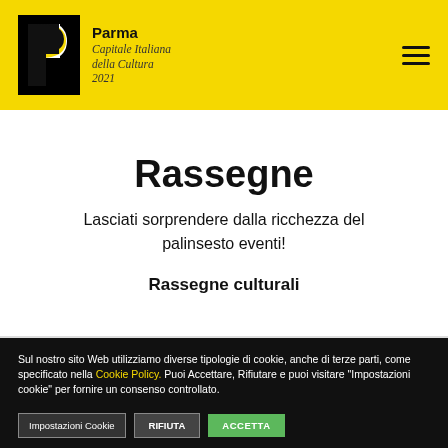Parma Capitale Italiana della Cultura 2021
Rassegne
Lasciati sorprendere dalla ricchezza del palinsesto eventi!
Rassegne culturali
Sul nostro sito Web utilizziamo diverse tipologie di cookie, anche di terze parti, come specificato nella Cookie Policy. Puoi Accettare, Rifiutare e puoi visitare "Impostazioni cookie" per fornire un consenso controllato.